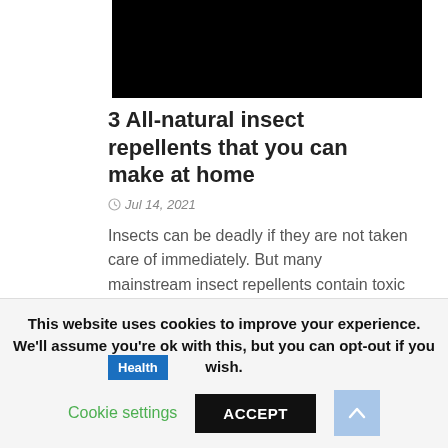[Figure (photo): Black redacted/blurred image at top of article card]
3 All-natural insect repellents that you can make at home
Jul 14, 2021
Insects can be deadly if they are not taken care of immediately. But many mainstream insect repellents contain toxic chemicals. This is why...
[Figure (other): Health tag label and black redacted bar for next article preview]
This website uses cookies to improve your experience. We'll assume you're ok with this, but you can opt-out if you wish.
Cookie settings
ACCEPT